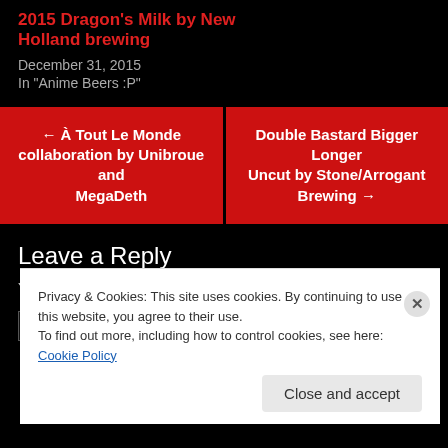2015 Dragon's Milk by New Holland brewing
December 31, 2015
In "Anime Beers :P"
← À Tout Le Monde collaboration by Unibroue and MegaDeth
Double Bastard Bigger Longer Uncut by Stone/Arrogant Brewing →
Leave a Reply
Your email address will not be published. Required fields are marked *
Privacy & Cookies: This site uses cookies. By continuing to use this website, you agree to their use.
To find out more, including how to control cookies, see here: Cookie Policy
Close and accept